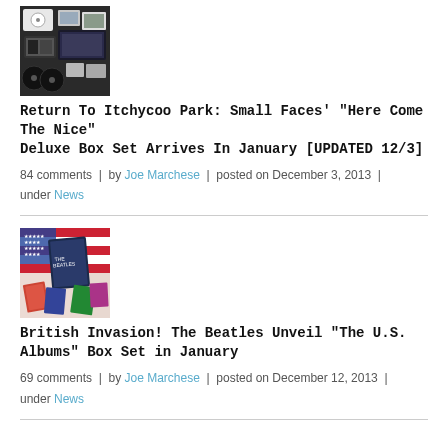[Figure (photo): Photo of Small Faces Here Come The Nice deluxe box set contents including vinyl records, photos, and memorabilia]
Return To Itchycoo Park: Small Faces' "Here Come The Nice" Deluxe Box Set Arrives In January [UPDATED 12/3]
84 comments | by Joe Marchese | posted on December 3, 2013 | under News
[Figure (photo): Photo of The Beatles The U.S. Albums box set contents with American flag theme and multiple albums spread out]
British Invasion! The Beatles Unveil "The U.S. Albums" Box Set in January
69 comments | by Joe Marchese | posted on December 12, 2013 | under News